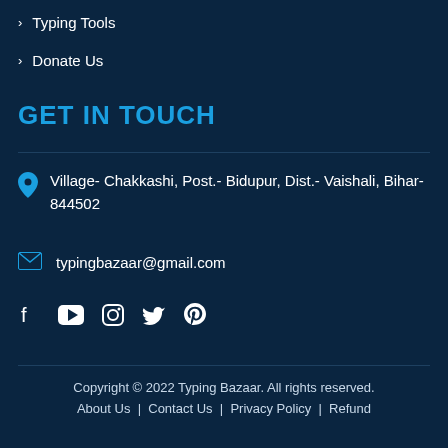Typing Tools
Donate Us
GET IN TOUCH
Village- Chakkashi, Post.- Bidupur, Dist.- Vaishali, Bihar- 844502
typingbazaar@gmail.com
[Figure (other): Social media icons: Facebook, YouTube, Instagram, Twitter, Pinterest]
Copyright © 2022 Typing Bazaar. All rights reserved. About Us | Contact Us | Privacy Policy | Refund